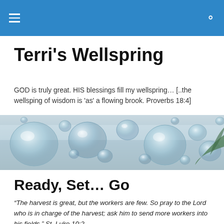Navigation bar with hamburger menu and search icon
Terri's Wellspring
GOD is truly great. HIS blessings fill my wellspring… [..the wellsping of wisdom is 'as' a flowing brook. Proverbs 18:4]
[Figure (photo): Close-up photo of water droplets on a glass surface with leaves visible]
Ready, Set… Go
“The harvest is great, but the workers are few. So pray to the Lord who is in charge of the harvest; ask him to send more workers into his fields.”  St. Luke 10:2